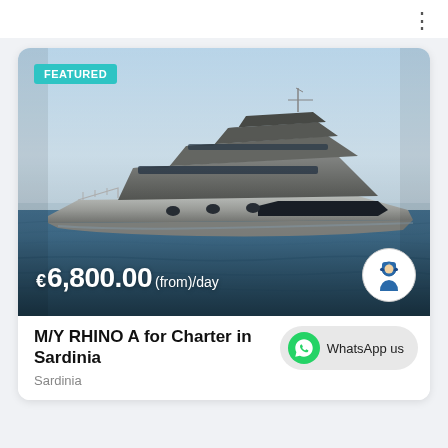[Figure (screenshot): Mobile app screenshot showing a yacht charter listing card with photo of a motor yacht on the sea, FEATURED badge, price overlay, and listing details.]
FEATURED
€6,800.00(from)/day
M/Y RHINO A for Charter in Sardinia
Sardinia
WhatsApp us